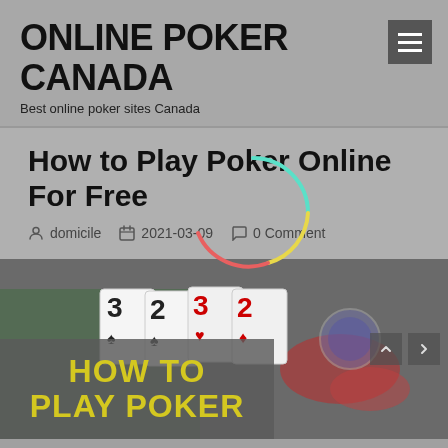ONLINE POKER CANADA
Best online poker sites Canada
How to Play Poker Online For Free
domicile  2021-03-09  0 Comment
[Figure (photo): Loading spinner (circular arc in teal, yellow, pink/red colors) overlaid on the article content area]
[Figure (photo): Poker cards and chips on a table with overlay text 'HOW TO PLAY POKER' in yellow bold text on grey semi-transparent background]